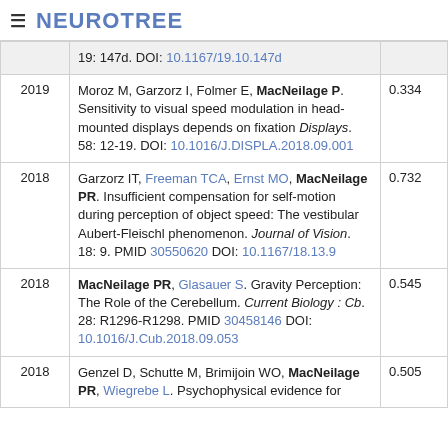≡ NEUROTREE
| Year | Reference | Score |
| --- | --- | --- |
|  | 19: 147d. DOI: 10.1167/19.10.147d |  |
| 2019 | Moroz M, Garzorz I, Folmer E, MacNeilage P. Sensitivity to visual speed modulation in head-mounted displays depends on fixation Displays. 58: 12-19. DOI: 10.1016/J.DISPLA.2018.09.001 | 0.334 |
| 2018 | Garzorz IT, Freeman TCA, Ernst MO, MacNeilage PR. Insufficient compensation for self-motion during perception of object speed: The vestibular Aubert-Fleischl phenomenon. Journal of Vision. 18: 9. PMID 30550620 DOI: 10.1167/18.13.9 | 0.732 |
| 2018 | MacNeilage PR, Glasauer S. Gravity Perception: The Role of the Cerebellum. Current Biology : Cb. 28: R1296-R1298. PMID 30458146 DOI: 10.1016/J.Cub.2018.09.053 | 0.545 |
| 2018 | Genzel D, Schutte M, Brimijoin WO, MacNeilage PR, Wiegrebe L. Psychophysical evidence for | 0.505 |